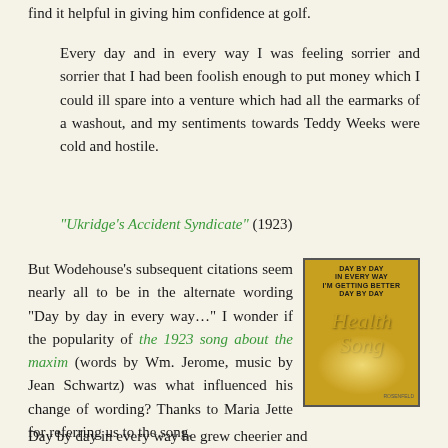find it helpful in giving him confidence at golf.
Every day and in every way I was feeling sorrier and sorrier that I had been foolish enough to put money which I could ill spare into a venture which had all the earmarks of a washout, and my sentiments towards Teddy Weeks were cold and hostile.
“Ukridge’s Accident Syndicate” (1923)
But Wodehouse’s subsequent citations seem nearly all to be in the alternate wording “Day by day in every way…” I wonder if the popularity of the 1923 song about the maxim (words by Wm. Jerome, music by Jean Schwartz) was what influenced his change of wording? Thanks to Maria Jette for referring us to the song.
[Figure (photo): Book cover of a song sheet titled 'Day by Day in Every Way I'm Getting Better Day by Day', yellow/orange background with decorative script text and radiating light design]
Day by day in every way he grew cheerier and